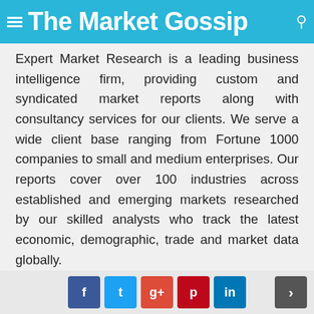The Market Gossip
Expert Market Research is a leading business intelligence firm, providing custom and syndicated market reports along with consultancy services for our clients. We serve a wide client base ranging from Fortune 1000 companies to small and medium enterprises. Our reports cover over 100 industries across established and emerging markets researched by our skilled analysts who track the latest economic, demographic, trade and market data globally.
At Expert Market Research, we tailor our approach according to our clients' needs and preferences, providing them with valuable, actionable and up-to-date insights into the market, thus, helping them realize their set ons to the potential Mc
f t g+ p in >